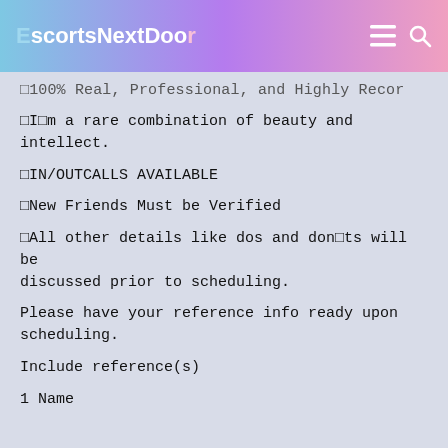EscortsNextDoor
□100% Real, Professional, and Highly Recor
□I□m a rare combination of beauty and intellect.
□IN/OUTCALLS AVAILABLE
□New Friends Must be Verified
□All other details like dos and don□ts will be discussed prior to scheduling.
Please have your reference info ready upon scheduling.
Include reference(s)
1 Name